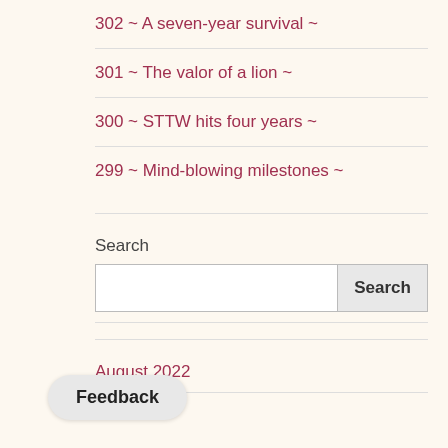302 ~ A seven-year survival ~
301 ~ The valor of a lion ~
300 ~ STTW hits four years ~
299 ~ Mind-blowing milestones ~
Search
Search
August 2022
July 2022